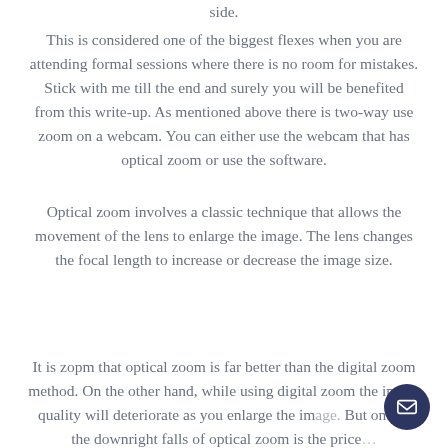side.
This is considered one of the biggest flexes when you are attending formal sessions where there is no room for mistakes. Stick with me till the end and surely you will be benefited from this write-up. As mentioned above there is two-way use zoom on a webcam. You can either use the webcam that has optical zoom or use the software.
Optical zoom involves a classic technique that allows the movement of the lens to enlarge the image. The lens changes the focal length to increase or decrease the image size.
It is zopm that optical zoom is far better than the digital zoom method. On the other hand, while using digital zoom the image quality will deteriorate as you enlarge the image. But one of the downright falls of optical zoom is the price